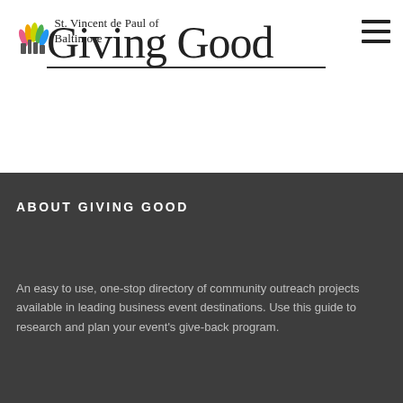[Figure (logo): St. Vincent de Paul of Baltimore logo with colorful hands icon and organization name]
Giving Good
ABOUT GIVING GOOD
An easy to use, one-stop directory of community outreach projects available in leading business event destinations. Use this guide to research and plan your event's give-back program.